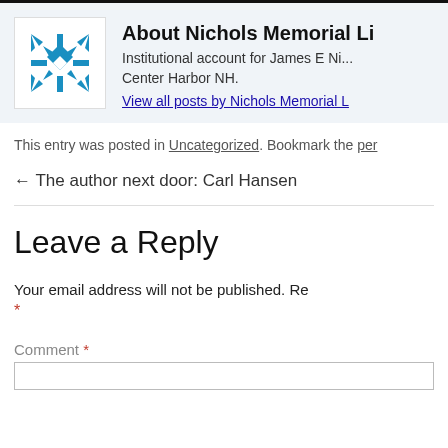[Figure (logo): Nichols Memorial Library logo - blue snowflake/quilt pattern on white background]
About Nichols Memorial Li
Institutional account for James E Ni... Center Harbor NH.
View all posts by Nichols Memorial L
This entry was posted in Uncategorized. Bookmark the per
← The author next door: Carl Hansen
Leave a Reply
Your email address will not be published. Re *
Comment *